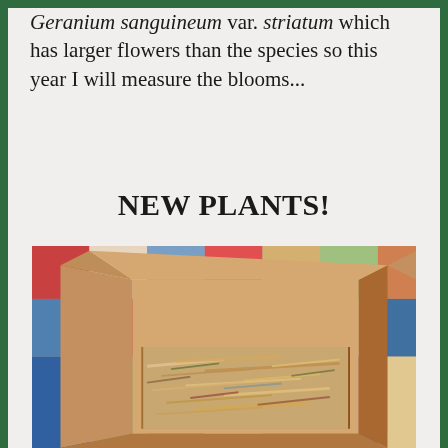Geranium sanguineum var. striatum which has larger flowers than the species so this year I will measure the blooms...
NEW PLANTS!
[Figure (photo): An open cardboard shipping box filled with shredded paper packing material, sitting on a colorful patchwork quilt.]